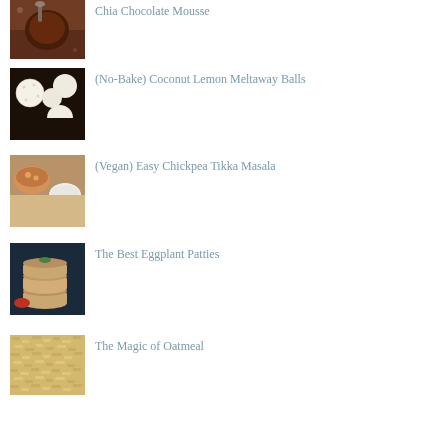Chia Chocolate Mousse
[Figure (photo): Chia chocolate mousse in a glass jar with a spoon]
(No-Bake) Coconut Lemon Meltaway Balls
[Figure (photo): Coconut lemon balls covered in coconut flakes on dark background]
(Vegan) Easy Chickpea Tikka Masala
[Figure (photo): Chickpea tikka masala curry with rice in bowls]
The Best Eggplant Patties
[Figure (photo): Stacked eggplant patties with sauce on the side]
The Magic of Oatmeal
[Figure (photo): Oatmeal texture close-up]